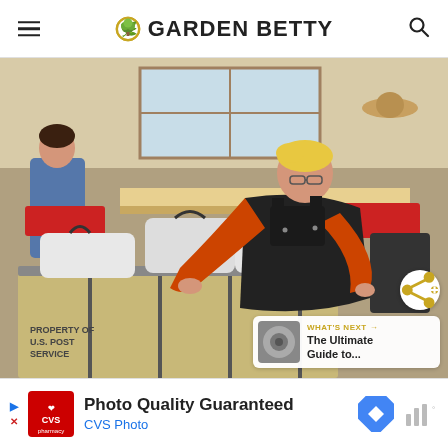Garden Betty
[Figure (photo): A woman in an orange shirt and dark overalls leans over large industrial laundry/mail hamper carts filled with white bags in a warehouse setting. Another person in denim is visible in the background.]
WHAT'S NEXT → The Ultimate Guide to...
[Figure (screenshot): CVS Photo advertisement banner: 'Photo Quality Guaranteed / CVS Photo']